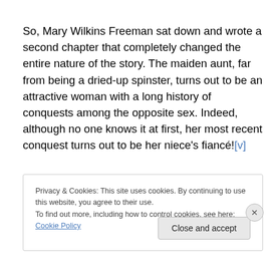So, Mary Wilkins Freeman sat down and wrote a second chapter that completely changed the entire nature of the story. The maiden aunt, far from being a dried-up spinster, turns out to be an attractive woman with a long history of conquests among the opposite sex. Indeed, although no one knows it at first, her most recent conquest turns out to be her niece's fiancé![v]
Privacy & Cookies: This site uses cookies. By continuing to use this website, you agree to their use.
To find out more, including how to control cookies, see here: Cookie Policy